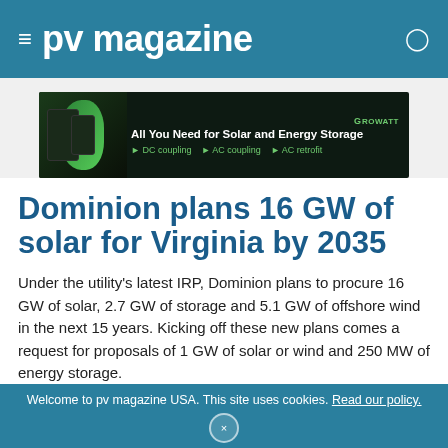≡ pv magazine
[Figure (illustration): Growatt advertisement banner: 'All You Need for Solar and Energy Storage' with DC coupling, AC coupling, AC retrofit options on dark background with green design elements]
Dominion plans 16 GW of solar for Virginia by 2035
Under the utility's latest IRP, Dominion plans to procure 16 GW of solar, 2.7 GW of storage and 5.1 GW of offshore wind in the next 15 years. Kicking off these new plans comes a request for proposals of 1 GW of solar or wind and 250 MW of energy storage.
MAY 4, 2020  TIM SYLVIA
Welcome to pv magazine USA. This site uses cookies. Read our policy.